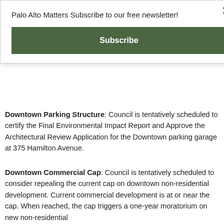Palo Alto Matters Subscribe to our free newsletter!
Subscribe
Downtown Parking Structure: Council is tentatively scheduled to certify the Final Environmental Impact Report and Approve the Architectural Review Application for the Downtown parking garage at 375 Hamilton Avenue.
Downtown Commercial Cap: Council is tentatively scheduled to consider repealing the current cap on downtown non-residential development. Current commercial development is at or near the cap. When reached, the cap triggers a one-year moratorium on new non-residential